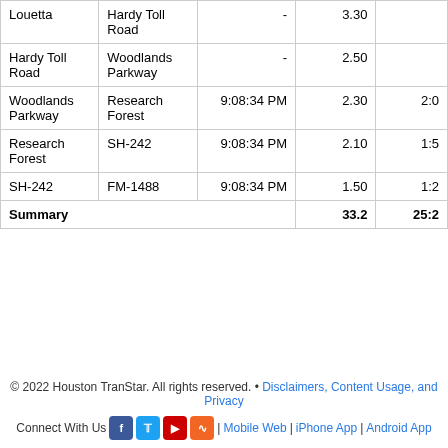| From | To | Time | Miles | Time |
| --- | --- | --- | --- | --- |
| Louetta | Hardy Toll Road | - | 3.30 |  |
| Hardy Toll Road | Woodlands Parkway | - | 2.50 |  |
| Woodlands Parkway | Research Forest | 9:08:34 PM | 2.30 | 2:0 |
| Research Forest | SH-242 | 9:08:34 PM | 2.10 | 1:5 |
| SH-242 | FM-1488 | 9:08:34 PM | 1.50 | 1:2 |
| Summary |  |  | 33.2 | 25:2 |
© 2022 Houston TranStar. All rights reserved. • Disclaimers, Content Usage, and Privacy
Connect With Us | Mobile Web | iPhone App | Android App